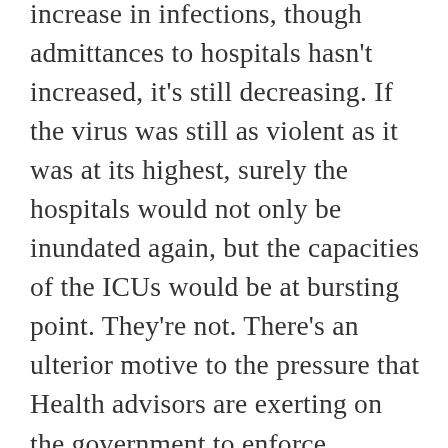increase in infections, though admittances to hospitals hasn't increased, it's still decreasing. If the virus was still as violent as it was at its highest, surely the hospitals would not only be inundated again, but the capacities of the ICUs would be at bursting point. They're not. There's an ulterior motive to the pressure that Health advisors are exerting on the government to enforce restrictions that don't work. It's to save face because they've been badly inept. They've been next to useless through the whole of this virus, and they know it. I'm not even entirely unconvinced that there isn't a hidden political agenda to undermine the government in all this. Ian came in for a pint before going off to meet workmates on